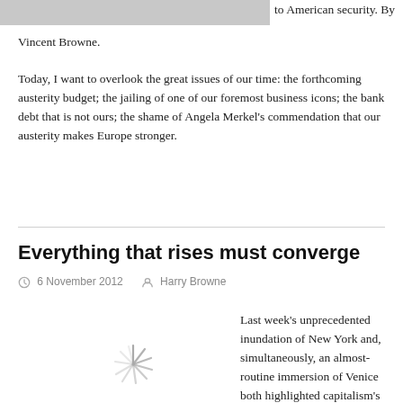[Figure (photo): Partial image at the top of the page, gray placeholder/cropped photo]
to American security. By Vincent Browne.
Today, I want to overlook the great issues of our time: the forthcoming austerity budget; the jailing of one of our foremost business icons; the bank debt that is not ours; the shame of Angela Merkel's commendation that our austerity makes Europe stronger.
Everything that rises must converge
6 November 2012   Harry Browne
[Figure (other): Loading spinner icon / image placeholder]
Last week's unprecedented inundation of New York and, simultaneously, an almost-routine immersion of Venice both highlighted capitalism's indifference to the fragility of urban life, writes Harry